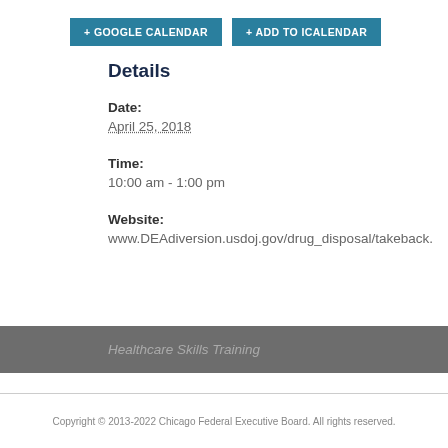+ GOOGLE CALENDAR
+ ADD TO ICALENDAR
Details
Date:
April 25, 2018
Time:
10:00 am - 1:00 pm
Website:
www.DEAdiversion.usdoj.gov/drug_disposal/takeback.
Healthcare Skills Training
Copyright © 2013-2022 Chicago Federal Executive Board. All rights reserved.